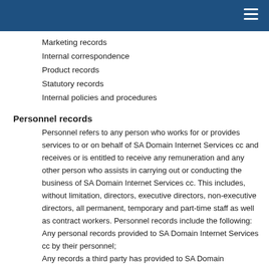Marketing records
Internal correspondence
Product records
Statutory records
Internal policies and procedures
Personnel records
Personnel refers to any person who works for or provides services to or on behalf of SA Domain Internet Services cc and receives or is entitled to receive any remuneration and any other person who assists in carrying out or conducting the business of SA Domain Internet Services cc. This includes, without limitation, directors, executive directors, non-executive directors, all permanent, temporary and part-time staff as well as contract workers. Personnel records include the following:
Any personal records provided to SA Domain Internet Services cc by their personnel;
Any records a third party has provided to SA Domain